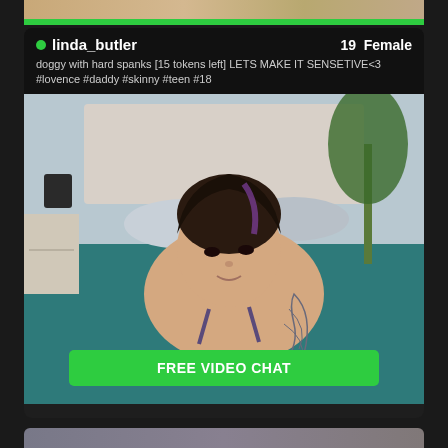[Figure (screenshot): Partial top card strip with green bar at bottom, cropped from above]
linda_butler  19  Female
doggy with hard spanks [15 tokens left] LETS MAKE IT SENSETIVE<3
#lovence #daddy #skinny #teen #18
[Figure (photo): Webcam stream photo of a young woman kneeling on a teal bed in a bedroom setting]
FREE VIDEO CHAT
[Figure (screenshot): Partial bottom card strip, cropped from below]